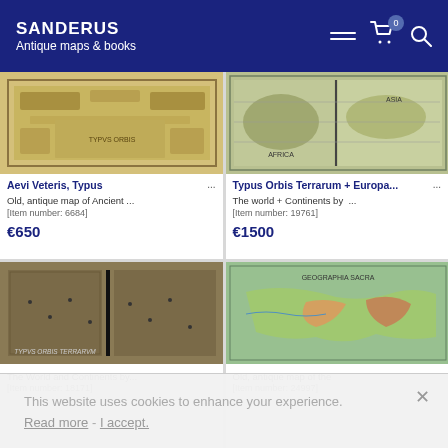SANDERUS Antique maps & books
[Figure (screenshot): Antique map image - Aevi Veteris Typus, decorative world map with ornate border]
Aevi Veteris, Typus ...
Old, antique map of Ancient ...
[Item number: 6684]
€650
[Figure (screenshot): Antique map image - Typus Orbis Terrarum, world map showing continents]
Typus Orbis Terrarum + Europa... ...
The world + Continents by ...
[Item number: 19761]
€1500
[Figure (screenshot): Antique map image - The World and Continents, dark antique world map]
The World and Continents by...
[Item number: 18171]
[Figure (screenshot): Antique map image - colorful antique map of old world regions]
Old, antique map of the ...
[Item number: 24997]
This website uses cookies to enhance your experience.
Read more - I accept.